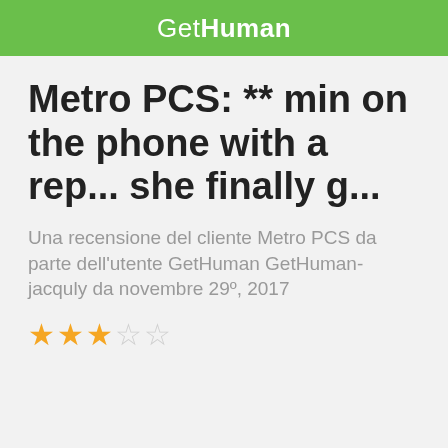GetHuman
Metro PCS: ** min on the phone with a rep... she finally g...
Una recensione del cliente Metro PCS da parte dell'utente GetHuman GetHuman-jacquly da novembre 29º, 2017
[Figure (other): Star rating: 2.5 out of 5 stars (3 filled, 2 empty)]